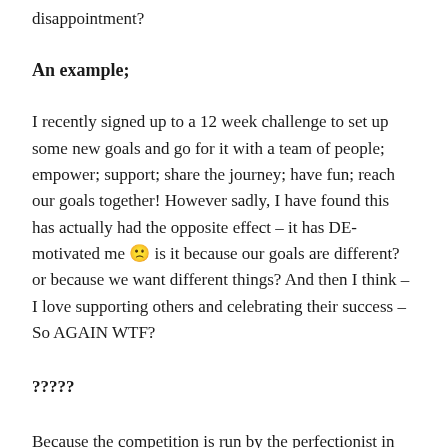disappointment?
An example;
I recently signed up to a 12 week challenge to set up some new goals and go for it with a team of people; empower; support; share the journey; have fun; reach our goals together! However sadly, I have found this has actually had the opposite effect – it has DE-motivated me 🙁 is it because our goals are different? or because we want different things? And then I think – I love supporting others and celebrating their success – So AGAIN WTF?
?????
Because the competition is run by the perfectionist in my head, the one who is calling the shots right now – the one who I keep